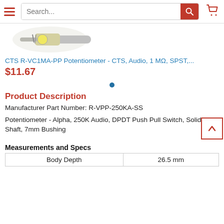Search...
[Figure (photo): Product photo of CTS potentiometer with metallic shaft and yellow wiring]
CTS R-VC1MA-PP Potentiometer - CTS, Audio, 1 MΩ, SPST,...
$11.67
•
Product Description
Manufacturer Part Number: R-VPP-250KA-SS
Potentiometer - Alpha, 250K Audio, DPDT Push Pull Switch, Solid Shaft, 7mm Bushing
Measurements and Specs
| Body Depth | 26.5 mm |
| --- | --- |